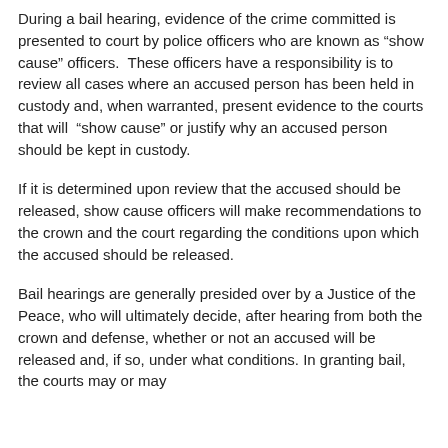During a bail hearing, evidence of the crime committed is presented to court by police officers who are known as “show cause” officers. These officers have a responsibility is to review all cases where an accused person has been held in custody and, when warranted, present evidence to the courts that will “show cause” or justify why an accused person should be kept in custody.
If it is determined upon review that the accused should be released, show cause officers will make recommendations to the crown and the court regarding the conditions upon which the accused should be released.
Bail hearings are generally presided over by a Justice of the Peace, who will ultimately decide, after hearing from both the crown and defense, whether or not an accused will be released and, if so, under what conditions. In granting bail, the courts may or may